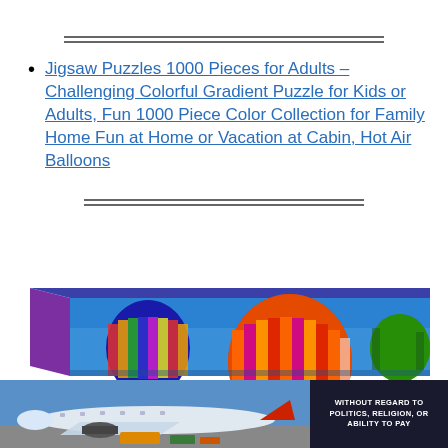Jigsaw Puzzles 1000 Pieces for Adults – Challenging Colorful Gradient Puzzle for Kids or Adults, Fun 1000 Piece Color Collection for Family Home Fun at Home or Vacation at Cabin, Hot Air Balloons
[Figure (photo): Product image of a jigsaw puzzle box showing hot air balloons against a blue sky, displayed at an angle. Below it is a partial image of an airplane on a tarmac and a dark banner reading WITHOUT REGARD TO POLITICS, RELIGION, OR ABILITY TO PAY.]